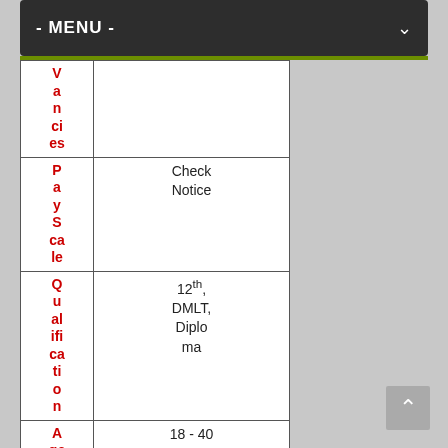- MENU -
| Field | Value |
| --- | --- |
| Vacancies |  |
| Pay Scale | Check Notice |
| Qualification | 12th, DMLT, Diploma |
| Age Limit | 18 - 40 Years |
| Ap... | For GEN/ |